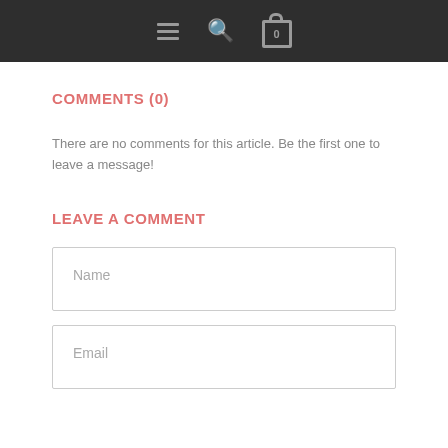Navigation bar with menu, search, and cart icons
COMMENTS (0)
There are no comments for this article. Be the first one to leave a message!
LEAVE A COMMENT
Name
Email